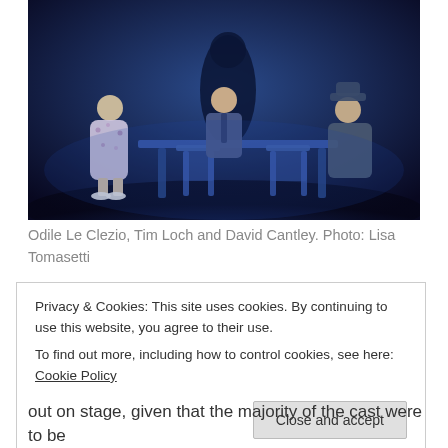[Figure (photo): A theatre stage scene with three actors in blue lighting. One woman in floral dress stands on the left, a man in a suit sits at a table in the center, and an older man wearing a hat sits on the right side of the table. A shadowy figure is visible in the background.]
Odile Le Clezio, Tim Loch and David Cantley. Photo: Lisa Tomasetti
Privacy & Cookies: This site uses cookies. By continuing to use this website, you agree to their use.
To find out more, including how to control cookies, see here: Cookie Policy
out on stage, given that the majority of the cast were to be